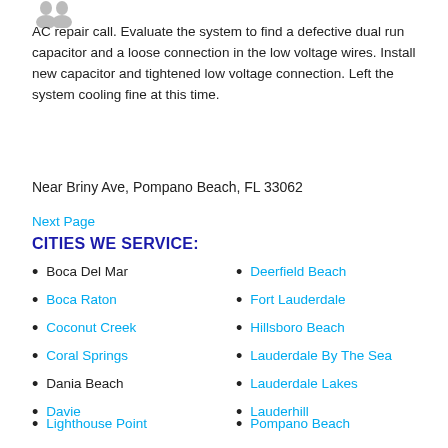[Figure (illustration): Small grey avatar/person icon at top left]
AC repair call. Evaluate the system to find a defective dual run capacitor and a loose connection in the low voltage wires. Install new capacitor and tightened low voltage connection. Left the system cooling fine at this time.
Near Briny Ave, Pompano Beach, FL 33062
Next Page
CITIES WE SERVICE:
Boca Del Mar
Boca Raton
Coconut Creek
Coral Springs
Dania Beach
Davie
Deerfield Beach
Fort Lauderdale
Hillsboro Beach
Lauderdale By The Sea
Lauderdale Lakes
Lauderhill
Lighthouse Point
Pompano Beach